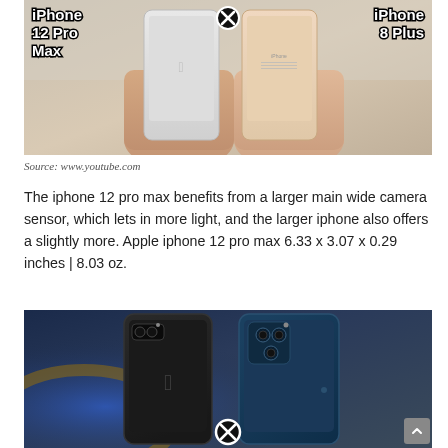[Figure (photo): Two hands holding iPhones back-to-back: iPhone 12 Pro Max (white/silver) on the left and iPhone 8 Plus (gold/rose) on the right, with text labels overlaid and a close/X icon in the center top]
Source: www.youtube.com
The iphone 12 pro max benefits from a larger main wide camera sensor, which lets in more light, and the larger iphone also offers a slightly more. Apple iphone 12 pro max 6.33 x 3.07 x 0.29 inches | 8.03 oz.
[Figure (photo): Two iPhones standing upright side by side: a black iPhone 7 Plus/8 Plus on the left and a Pacific Blue iPhone 12 Pro Max on the right, with a close/X icon at the bottom center and blue lighting in the background]